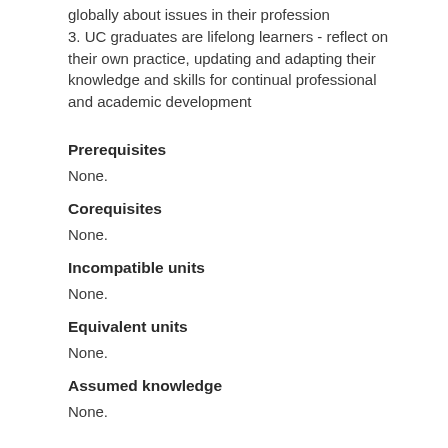globally about issues in their profession
3. UC graduates are lifelong learners - reflect on their own practice, updating and adapting their knowledge and skills for continual professional and academic development
Prerequisites
None.
Corequisites
None.
Incompatible units
None.
Equivalent units
None.
Assumed knowledge
None.